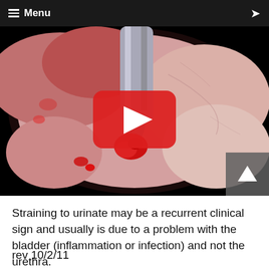≡ Menu
[Figure (screenshot): Endoscopic video thumbnail showing a cystoscopic procedure with a metal instrument and bleeding tissue on a pink/red bladder wall background, with a YouTube play button overlay in the center.]
Straining to urinate may be a recurrent clinical sign and usually is due to a problem with the bladder (inflammation or infection) and not the urethra.
rev 10/2/11